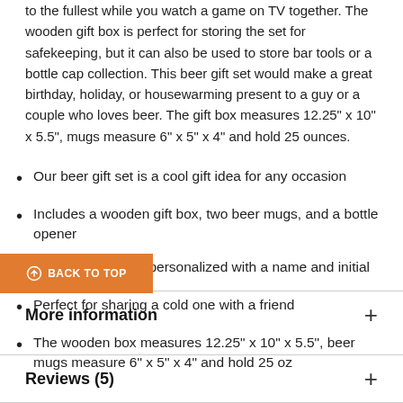to the fullest while you watch a game on TV together. The wooden gift box is perfect for storing the set for safekeeping, but it can also be used to store bar tools or a bottle cap collection. This beer gift set would make a great birthday, holiday, or housewarming present to a guy or a couple who loves beer. The gift box measures 12.25" x 10" x 5.5", mugs measure 6" x 5" x 4" and hold 25 ounces.
Our beer gift set is a cool gift idea for any occasion
Includes a wooden gift box, two beer mugs, and a bottle opener
Mugs and box are personalized with a name and initial
Perfect for sharing a cold one with a friend
The wooden box measures 12.25" x 10" x 5.5", beer mugs measure 6" x 5" x 4" and hold 25 oz
More information
Reviews (5)